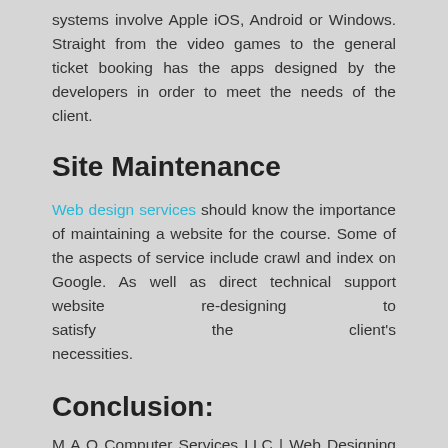systems involve Apple iOS, Android or Windows. Straight from the video games to the general ticket booking has the apps designed by the developers in order to meet the needs of the client.
Site Maintenance
Web design services should know the importance of maintaining a website for the course. Some of the aspects of service include crawl and index on Google. As well as direct technical support website re-designing to satisfy the client's necessities.
Conclusion:
M A Q Computer Services LLC | Web Designing Dubai